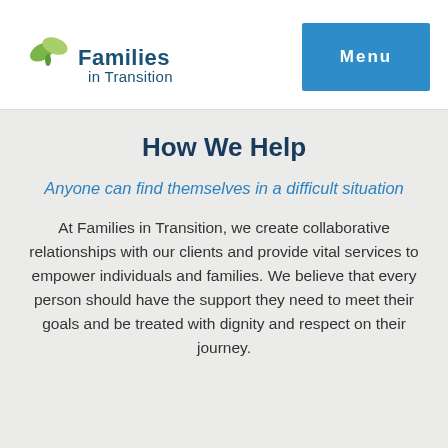[Figure (logo): Families in Transition logo with green leaf/butterfly icon and blue text]
How We Help
Anyone can find themselves in a difficult situation
At Families in Transition, we create collaborative relationships with our clients and provide vital services to empower individuals and families. We believe that every person should have the support they need to meet their goals and be treated with dignity and respect on their journey.